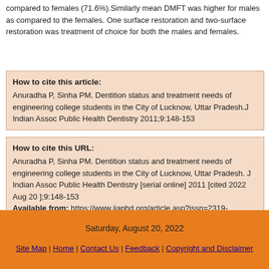compared to females (71.6%).Similarly mean DMFT was higher for males as compared to the females. One surface restoration and two-surface restoration was treatment of choice for both the males and females.
How to cite this article: Anuradha P, Sinha PM. Dentition status and treatment needs of engineering college students in the City of Lucknow, Uttar Pradesh.J Indian Assoc Public Health Dentistry 2011;9:148-153
How to cite this URL: Anuradha P, Sinha PM. Dentition status and treatment needs of engineering college students in the City of Lucknow, Uttar Pradesh. J Indian Assoc Public Health Dentistry [serial online] 2011 [cited 2022 Aug 20 ];9:148-153
Available from: https://www.jiaphd.org/article.asp?issn=2319-5932;year=2011;volume=9;issue=18;spage=148;epage=153;aulast=Anuradha;ty
Saturday, August 20, 2022
Site Map | Home | Contact Us | Feedback | Copyright and Disclaimer